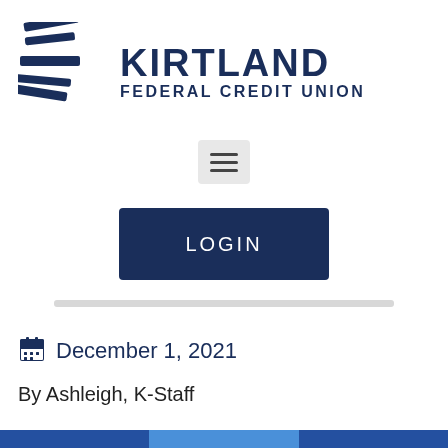[Figure (logo): Kirtland Federal Credit Union logo with stylized K flag icon and bold text]
[Figure (other): Hamburger menu button (three horizontal lines) on light gray background]
[Figure (other): Dark navy LOGIN button]
December 1, 2021
By Ashleigh, K-Staff